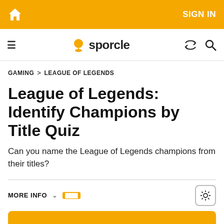SIGN IN
sporcle
GAMING > LEAGUE OF LEGENDS
League of Legends: Identify Champions by Title Quiz
Can you name the League of Legends champions from their titles?
MORE INFO
[Figure (screenshot): Orange start quiz button and advertisement area with close button]